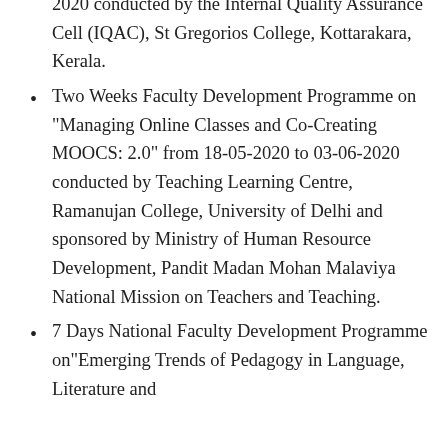2020 conducted by the Internal Quality Assurance Cell (IQAC), St Gregorios College, Kottarakara, Kerala.
Two Weeks Faculty Development Programme on “Managing Online Classes and Co-Creating MOOCS: 2.0” from 18-05-2020 to 03-06-2020 conducted by Teaching Learning Centre, Ramanujan College, University of Delhi and sponsored by Ministry of Human Resource Development, Pandit Madan Mohan Malaviya National Mission on Teachers and Teaching.
7 Days National Faculty Development Programme on“Emerging Trends of Pedagogy in Language, Literature and